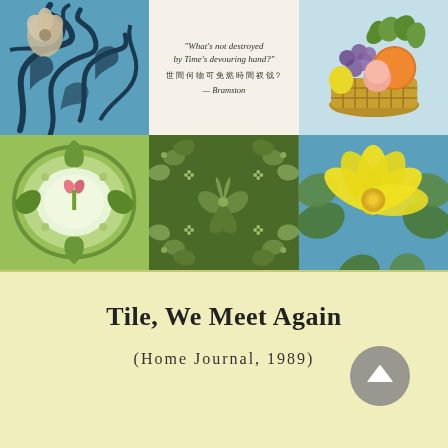[Figure (illustration): A 2x3 grid of decorative ceramic tiles. Top row: (1) Blue tile with Art Nouveau floral swirl pattern in dark blue on sky blue background. (2) Cream/off-white tile with a quote in English and Chinese characters, attributed to Bramston. (3) Tile with colorful fruit basket containing grapes, pomegranate, orange, and other fruits on light blue background. Bottom row: (4) Green tile with stylized apple/floral symmetrical design in green and pink. (5) Dark green tile with repeating botanical/floral pattern. (6) Blue tile with large yellow flower and green leaves.]
Tile, We Meet Again
(Home Journal, 1989)